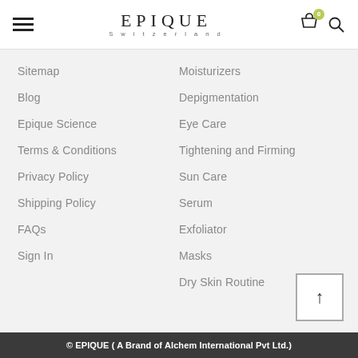EPIQUE Switzerland — navigation header with hamburger menu, cart icon (0), and search icon
Sitemap
Blog
Epique Science
Terms & Conditions
Privacy Policy
Shipping Policy
FAQs
Sign In
Moisturizers
Depigmentation
Eye Care
Tightening and Firming
Sun Care
Serum
Exfoliator
Masks
Dry Skin Routine
© EPIQUE ( A Brand of Alchem International Pvt Ltd.)